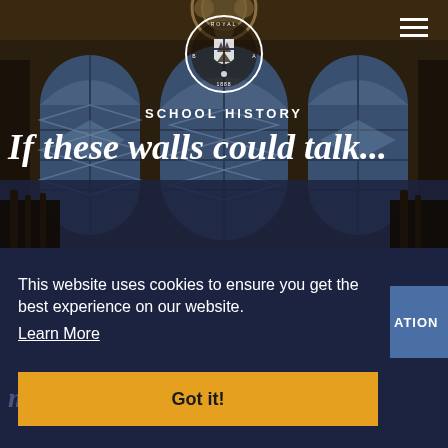[Figure (photo): Interior photo of a historic school building with tall stained glass arched windows in blue and gold tones, dark wooden balustrades, and ornate architectural details. Dark amber and brown tones.]
[Figure (logo): Circular school crest/seal for Royal Academy Belfast 1888, white on transparent background, with shield and decorative elements]
SCHOOL HISTORY
If these walls could talk...
This website uses cookies to ensure you get the best experience on our website.
Learn More
Got it!
making, imagine, the stone s